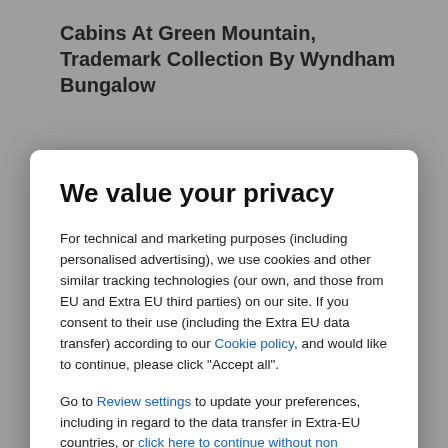Cabins At Green Mountain, Trademark Collection By Wyndham Bungalow
[Figure (screenshot): Background hotel listing page with star ratings and review score]
We value your privacy
For technical and marketing purposes (including personalised advertising), we use cookies and other similar tracking technologies (our own, and those from EU and Extra EU third parties) on our site. If you consent to their use (including the Extra EU data transfer) according to our Cookie policy, and would like to continue, please click "Accept all".
Go to Review settings to update your preferences, including in regard to the data transfer in Extra-EU countries, or click here to continue without non mandatory cookies.
ACCEPT ALL